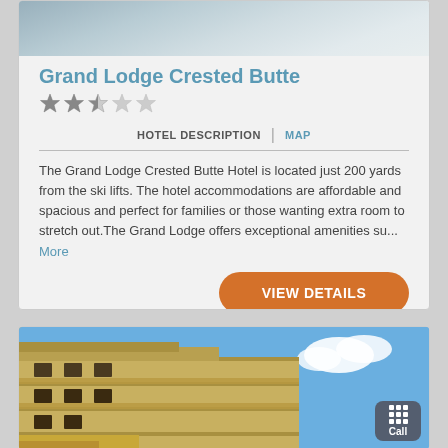[Figure (photo): Snowy ski resort exterior photo at top of card]
Grand Lodge Crested Butte
[Figure (other): Star rating: 2.5 out of 5 stars]
HOTEL DESCRIPTION | MAP
The Grand Lodge Crested Butte Hotel is located just 200 yards from the ski lifts. The hotel accommodations are affordable and spacious and perfect for families or those wanting extra room to stretch out.The Grand Lodge offers exceptional amenities su... More
[Figure (photo): Hotel building exterior photo showing multi-story wooden structure with balconies against blue sky]